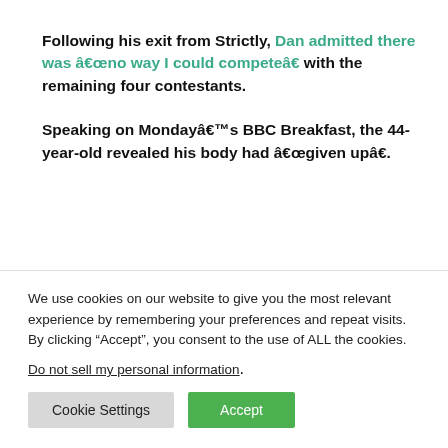Following his exit from Strictly, Dan admitted there was “no way I could compete” with the remaining four contestants.
Speaking on Monday’s BBC Breakfast, the 44-year-old revealed his body had “given up”.
“I think the right people are in the semi-finals, the best four dancers in the competition, he said. “My time had come to an end, there’s no way I could compete
We use cookies on our website to give you the most relevant experience by remembering your preferences and repeat visits. By clicking “Accept”, you consent to the use of ALL the cookies.
Do not sell my personal information.